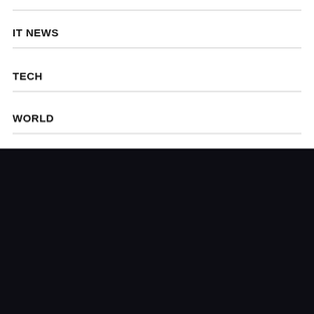IT NEWS
TECH
WORLD
[Figure (logo): VBRnews. logo — bold white VBR followed by light-weight 'news' and a blue dot, on dark background]
VRB News is ready to cooperate with webmasters and content